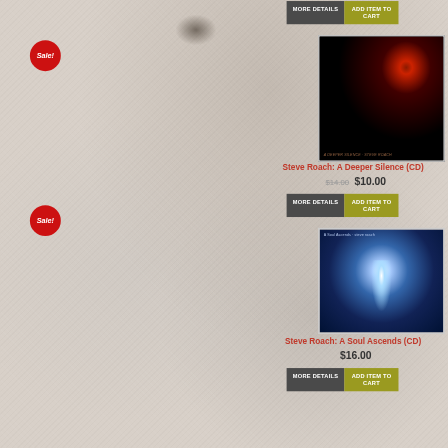[Figure (other): Red sale badge circle top left]
MORE DETAILS
ADD ITEM TO CART
[Figure (photo): Album cover for A Deeper Silence by Steve Roach - dark image with red glowing orb]
Steve Roach: A Deeper Silence (CD)
$14.00 $10.00
MORE DETAILS
ADD ITEM TO CART
[Figure (photo): Album cover for A Soul Ascends by Steve Roach - dark image with glowing white figure]
Steve Roach: A Soul Ascends (CD)
$16.00
MORE DETAILS
ADD ITEM TO CART
[Figure (other): Red sale badge circle bottom left (partially visible)]